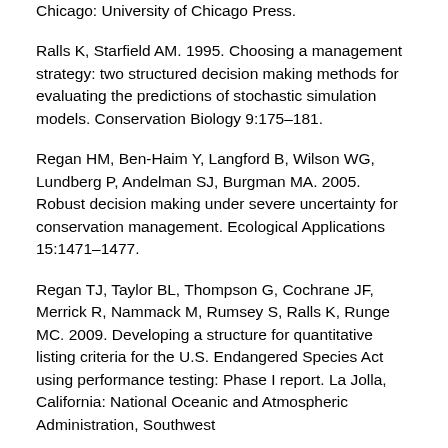Chicago: University of Chicago Press.
Ralls K, Starfield AM. 1995. Choosing a management strategy: two structured decision making methods for evaluating the predictions of stochastic simulation models. Conservation Biology 9:175–181.
Regan HM, Ben-Haim Y, Langford B, Wilson WG, Lundberg P, Andelman SJ, Burgman MA. 2005. Robust decision making under severe uncertainty for conservation management. Ecological Applications 15:1471–1477.
Regan TJ, Taylor BL, Thompson G, Cochrane JF, Merrick R, Nammack M, Rumsey S, Ralls K, Runge MC. 2009. Developing a structure for quantitative listing criteria for the U.S. Endangered Species Act using performance testing: Phase I report. La Jolla, California: National Oceanic and Atmospheric Administration, Southwest